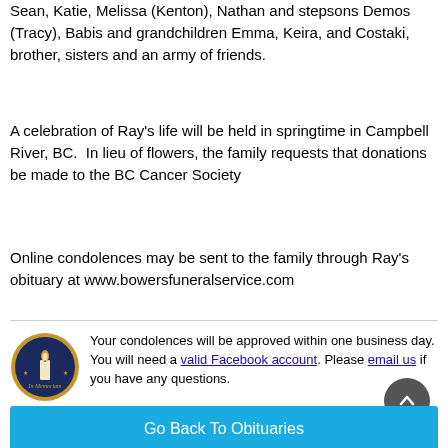Ray is survived by his wife Anna, children Kyra (Jessica), Sean, Katie, Melissa (Kenton), Nathan and stepsons Demos (Tracy), Babis and grandchildren Emma, Keira, and Costaki, brother, sisters and an army of friends.
A celebration of Ray's life will be held in springtime in Campbell River, BC. In lieu of flowers, the family requests that donations be made to the BC Cancer Society
Online condolences may be sent to the family through Ray's obituary at www.bowersfuneralservice.com
Your condolences will be approved within one business day. You will need a valid Facebook account. Please email us if you have any questions.
Go Back To Obituaries